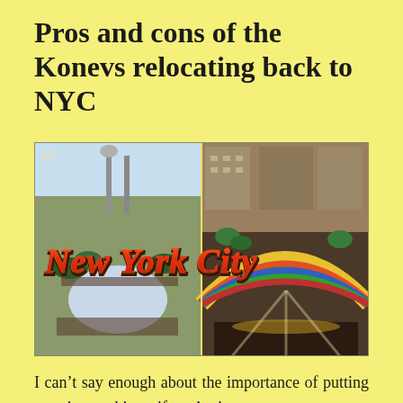Pros and cons of the Konevs relocating back to NYC
[Figure (photo): Vintage retro postcard composite image of New York City showing two scenes: left panel shows an aerial view of a fair/expo grounds with ice rink and crowds, right panel shows a colorful art deco theater/venue interior. Bold red and orange text across both panels reads 'New York City'.]
I can't say enough about the importance of putting a project on hiatus if you're just not